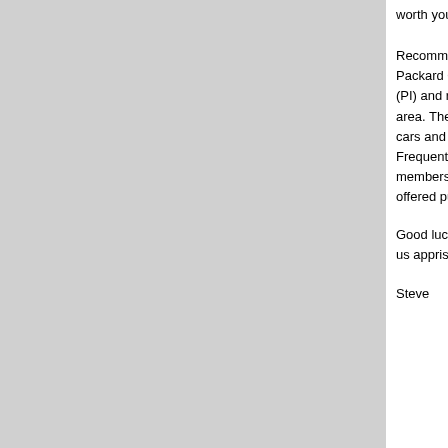worth your time to do so.
Recommended to that e... Packard Club (PAC) or P... (PI) and region that is m... area. Then, meet other m... cars and let them know y... Frequently good cars tra... members at favorable pr... offered publicly for sale.
Good luck with your sea... us apprised of your prog...
Steve
Posted
.....epigram time.....
Proud 1953 Clipper Delu...
[Figure (screenshot): Toolbar with up-arrow icon button and print/email icon button on gray background]
Board index » Discussion » General » Consider... Sedan - Fair Price??
Top   Previous Topic   Next Topic